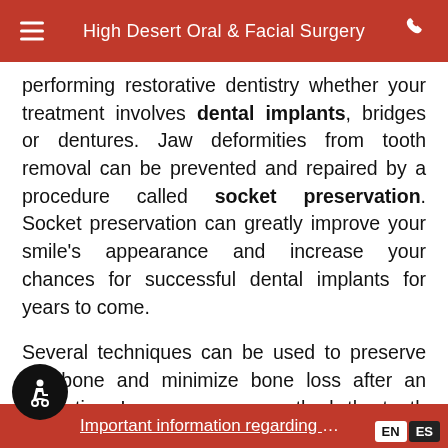High Desert Oral & Facial Surgery
performing restorative dentistry whether your treatment involves dental implants, bridges or dentures. Jaw deformities from tooth removal can be prevented and repaired by a procedure called socket preservation. Socket preservation can greatly improve your smile's appearance and increase your chances for successful dental implants for years to come.
Several techniques can be used to preserve the bone and minimize bone loss after an extraction. In one common method, the tooth is removed and the socket is filled with bone or bone substitute. It is then covered with gum, artificial membrane, or
Important information regarding COVID-19